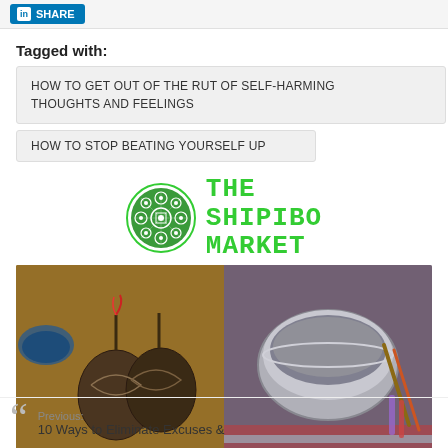[Figure (other): LinkedIn Share button at top of page]
Tagged with:
HOW TO GET OUT OF THE RUT OF SELF-HARMING THOUGHTS AND FEELINGS
HOW TO STOP BEATING YOURSELF UP
[Figure (logo): The Shipibo Market logo with circular patterned emblem and green text, followed by product photos and website/social media info: THESHIPIBOMARKET.COM, @THESHIPIBOMARKET (Instagram), THESHIPIBOMARKET (Facebook)]
Previous:
10 Ways to Eliminate Excuses &